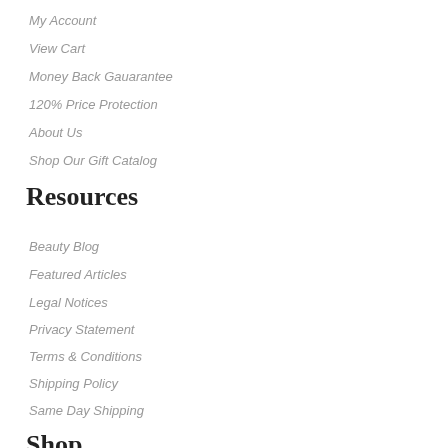My Account
View Cart
Money Back Gauarantee
120% Price Protection
About Us
Shop Our Gift Catalog
Resources
Beauty Blog
Featured Articles
Legal Notices
Privacy Statement
Terms & Conditions
Shipping Policy
Same Day Shipping
Shop
Brands
Cosmetics